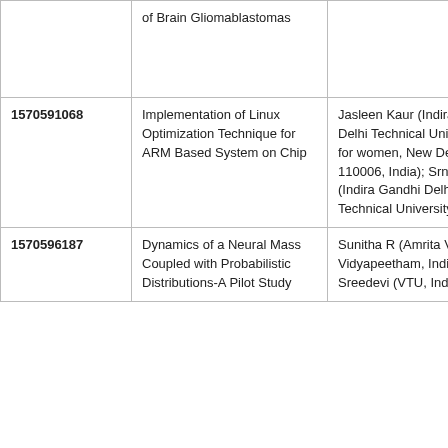|  | Title | Authors |
| --- | --- | --- |
|  | of Brain Gliomablastomas |  |
| 1570591068 | Implementation of Linux Optimization Technique for ARM Based System on Chip | Jasleen Kaur (Indira Gandhi Delhi Technical University for women, New Delhi-110006, India); Srn Reddy (Indira Gandhi Delhi Technical University, India) |
| 1570596187 | Dynamics of a Neural Mass Coupled with Probabilistic Distributions-A Pilot Study | Sunitha R (Amrita Vishwa Vidyapeetham, India); A Sreedevi (VTU, India) |